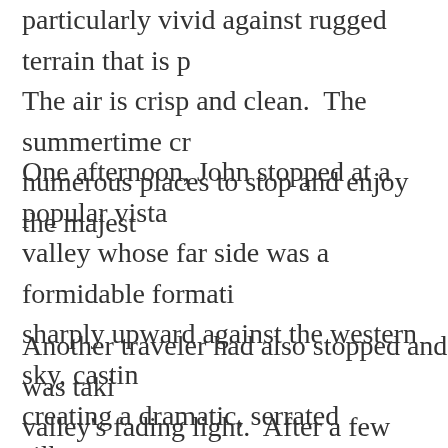particularly vivid against rugged terrain that is p The air is crisp and clean. The summertime cr numerous places to stop and enjoy the majest
One afternoon, John stopped at a popular vista valley whose far side was a formidable formati sharply upward against the western sky, castin creating a dramatic, serrated silhouette.
Another traveler had also stopped and was taki valley's fading light. After a few minutes, John fellow visitor and they began to talk about the s minutes, the other man remarked that the park different from his own home in western Texas w
This was his first time seeing the park and he w
John, of course, agreed. He explained his lifel he spent some each year traveling throu